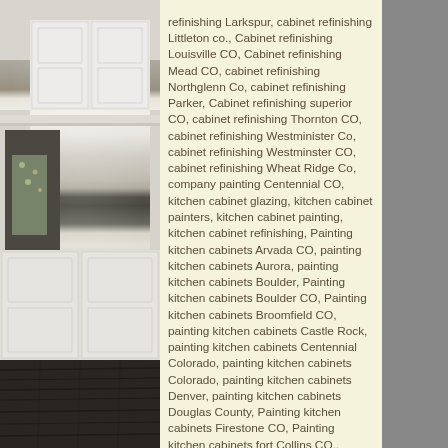[Figure (photo): Photo of a kitchen interior showing white painted cabinets, wainscoting on the wall, and dark hardwood flooring. A person wearing a floral apron is partially visible.]
refinishing Larkspur, cabinet refinishing Littleton co., Cabinet refinishing Louisville CO, Cabinet refinishing Mead CO, cabinet refinishing Northglenn Co, cabinet refinishing Parker, Cabinet refinishing superior CO, cabinet refinishing Thornton CO, cabinet refinishing Westminister Co, cabinet refinishing Westminster CO, cabinet refinishing Wheat Ridge Co, company painting Centennial CO, kitchen cabinet glazing, kitchen cabinet painters, kitchen cabinet painting, kitchen cabinet refinishing, Painting kitchen cabinets Arvada CO, painting kitchen cabinets Aurora, painting kitchen cabinets Boulder, Painting kitchen cabinets Boulder CO, Painting kitchen cabinets Broomfield CO, painting kitchen cabinets Castle Rock, painting kitchen cabinets Centennial Colorado, painting kitchen cabinets Colorado, painting kitchen cabinets Denver, painting kitchen cabinets Douglas County, Painting kitchen cabinets Firestone CO, Painting kitchen cabinets fort Collins CO., Painting kitchen cabinets Frederick CO, painting kitchen cabinets Highlands Ranch, painting kitchen cabinets Jefferson County, painting kitchen cabinets Lakewood co., painting kitchen cabinets Littleton Colorado, Painting kitchen cabinets Longmont CO, Painting kitchen